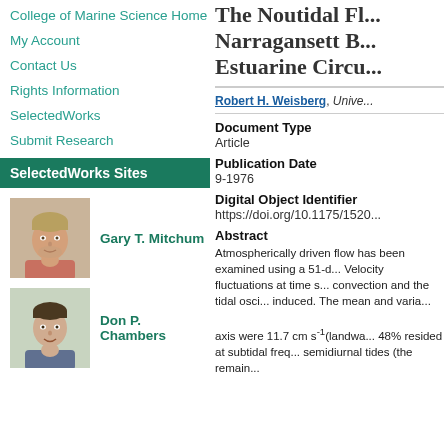College of Marine Science Home
My Account
Contact Us
Rights Information
SelectedWorks
Submit Research
SelectedWorks Sites
Gary T. Mitchum
[Figure (photo): Headshot photo of Gary T. Mitchum]
Don P. Chambers
[Figure (photo): Headshot photo of Don P. Chambers]
The Noutidal Fl... Narragansett B... Estuarine Circu...
Robert H. Weisberg, Unive...
Document Type
Article
Publication Date
9-1976
Digital Object Identifier
https://doi.org/10.1175/1520...
Abstract
Atmospherically driven flow has been examined using a 51-d... Velocity fluctuations at time s... convection and the tidal osci... induced. The mean and varia... axis were 11.7 cm s⁻¹(landwa... 48% resided at subtidal freq... semidiurnal tides (the remain...